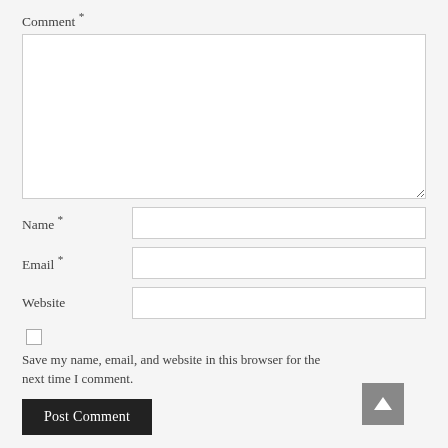Comment *
[Figure (screenshot): Comment textarea input box, empty, with resize handle at bottom right]
Name *
Email *
Website
Save my name, email, and website in this browser for the next time I comment.
Post Comment
[Figure (other): Up arrow button (scroll to top), dark gray square with white arrow icon]